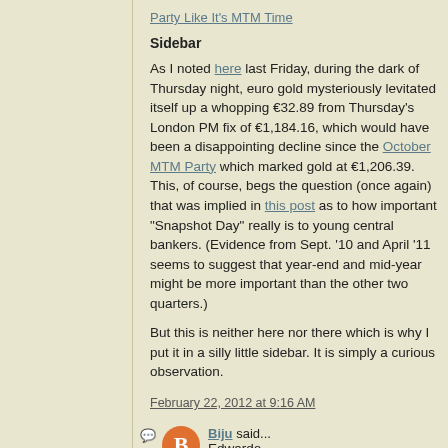Party Like It's MTM Time
Sidebar
As I noted here last Friday, during the dark of Thursday night, euro gold mysteriously levitated itself up a whopping €32.89 from Thursday's London PM fix of €1,184.16, which would have been a disappointing decline since the October MTM Party which marked gold at €1,206.39. This, of course, begs the question (once again) that was implied in this post as to how important "Snapshot Day" really is to young central bankers. (Evidence from Sept. '10 and April '11 seems to suggest that year-end and mid-year might be more important than the other two quarters.)
But this is neither here nor there which is why I put it in a silly little sidebar. It is simply a curious observation.
February 22, 2012 at 9:16 AM
Biju said...
Edwardo,